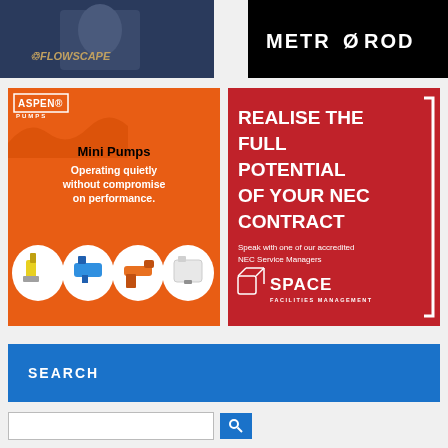[Figure (logo): Flowscape logo on dark blue background with person image]
[Figure (logo): Metro Rod logo in white on black background]
[Figure (illustration): Aspen Pumps Mini Pumps advertisement on orange background. Text: Mini Pumps Operating quietly without compromise on performance. Shows oval images of 4 different pump products.]
[Figure (illustration): Space Facilities Management advertisement on red background. Text: REALISE THE FULL POTENTIAL OF YOUR NEC CONTRACT. Speak with one of our accredited NEC Service Managers. Space Facilities Management logo.]
SEARCH